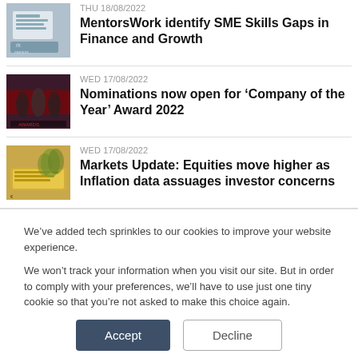[Figure (photo): Thumbnail image showing a desk with papers and a laptop, partially cropped]
THU 18/08/2022
MentorsWork identify SME Skills Gaps in Finance and Growth
[Figure (photo): Thumbnail of people on a stage with red background lighting at an awards event]
WED 17/08/2022
Nominations now open for ‘Company of the Year’ Award 2022
[Figure (photo): Thumbnail of Euro banknotes with wheat, finance themed image]
WED 17/08/2022
Markets Update: Equities move higher as Inflation data assuages investor concerns
We’ve added tech sprinkles to our cookies to improve your website experience.

We won’t track your information when you visit our site. But in order to comply with your preferences, we’ll have to use just one tiny cookie so that you’re not asked to make this choice again.